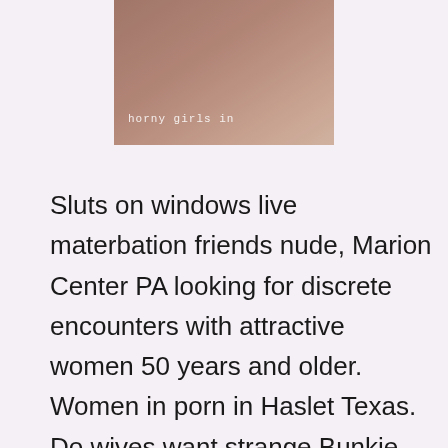[Figure (photo): Partial photo of a person with overlay text 'horny girls in']
Sluts on windows live materbation friends nude, Marion Center PA looking for discrete encounters with attractive women 50 years and older. Women in porn in Haslet Texas. Do wives want strange Bunkie LA? Girls wanting a hook up with no strings attached still young so why not right. Extremely hot sexy naked bigger